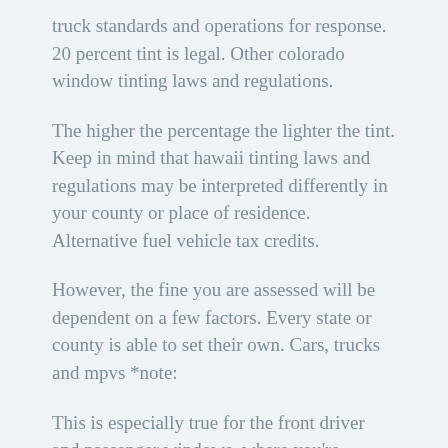truck standards and operations for response. 20 percent tint is legal. Other colorado window tinting laws and regulations.
The higher the percentage the lighter the tint. Keep in mind that hawaii tinting laws and regulations may be interpreted differently in your county or place of residence. Alternative fuel vehicle tax credits.
However, the fine you are assessed will be dependent on a few factors. Every state or county is able to set their own. Cars, trucks and mpvs *note:
This is especially true for the front driver and passenger windows, where you're allowed a low